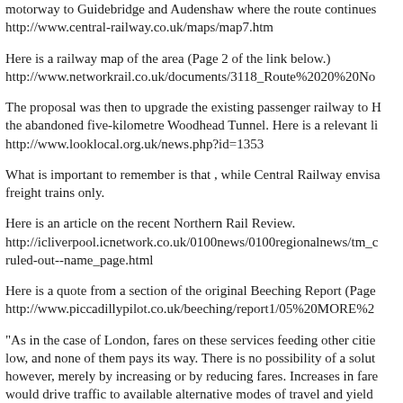motorway to Guidebridge and Audenshaw where the route continues http://www.central-railway.co.uk/maps/map7.htm
Here is a railway map of the area (Page 2 of the link below.) http://www.networkrail.co.uk/documents/3118_Route%2020%20No
The proposal was then to upgrade the existing passenger railway to H the abandoned five-kilometre Woodhead Tunnel. Here is a relevant li http://www.looklocal.org.uk/news.php?id=1353
What is important to remember is that , while Central Railway envisa freight trains only.
Here is an article on the recent Northern Rail Review. http://icliverpool.icnetwork.co.uk/0100news/0100regionalnews/tm_c ruled-out--name_page.html
Here is a quote from a section of the original Beeching Report (Page http://www.piccadillypilot.co.uk/beeching/report1/05%20MORE%2
"As in the case of London, fares on these services feeding other citie low, and none of them pays its way. There is no possibility of a solut however, merely by increasing or by reducing fares. Increases in fare would drive traffic to available alternative modes of travel and yield if any. Decreases would increase traffic, but short peak periods of tra level would not support the services with fares lower than at present.